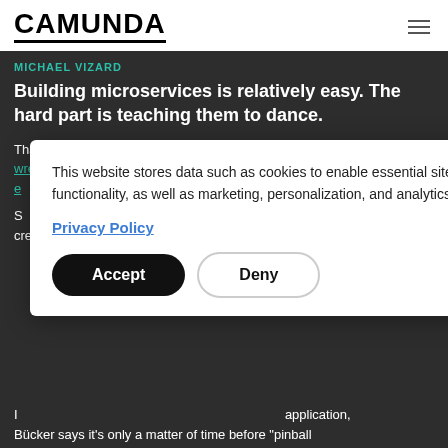CAMUNDA
MICHAEL VIZARD
Building microservices is relatively easy. The hard part is teaching them to dance.
That's the challenge software development teams now find themselves wrestling with as the number of microservices in... ...d starts to e... -founder, chief t...
This website stores data such as cookies to enable essential site functionality, as well as marketing, personalization, and analytics.
Privacy Policy
Accept
Deny
S... developers m... rs creating a d... vorked out to e...
I... application, Bücker says it's only a matter of time before "pinball